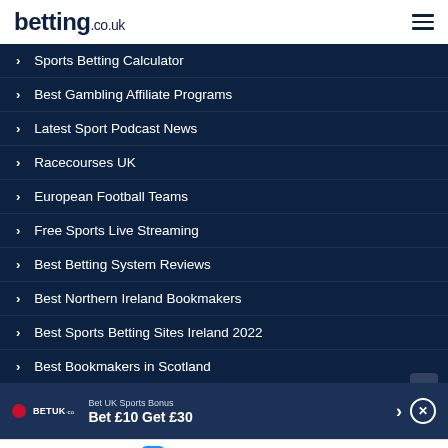betting.co.uk
Sports Betting Calculator
Best Gambling Affiliate Programs
Latest Sport Podcast News
Racecourses UK
European Football Teams
Free Sports Live Streaming
Best Betting System Reviews
Best Northern Ireland Bookmakers
Best Sports Betting Sites Ireland 2022
Best Bookmakers in Scotland
Bet UK Sports Bonus — Bet £10 Get £30
Sports Betting | Bonus 58 | News | Casino | BONUS OFFERS!